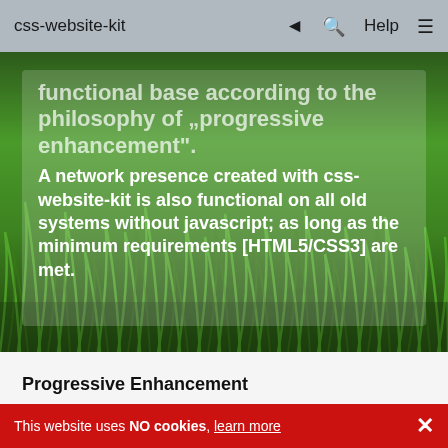css-website-kit   ◄   🔍   Help   ☰
[Figure (photo): Green grass background with a semi-transparent white overlay box containing bold white text about functional base according to the philosophy of progressive enhancement.]
functional base according to the philosophy of „progressive enhancement".
A network presence created with css-website-kit is also functional on all old systems without javascript; as long as the minimum requirements [HTML5/CSS3] are met.
Progressive Enhancement
Progressive enhancement describes a method in web design that includes accessibility, semantic markup, and separation of information and presentation to make a website usable for end devices that have limited functionality (JavaScript / CSS / Flash support). The philosophy behind this is that web pages should basically be accessible to any web browser and any type of internet connection in its most basic form — the provision of
This website uses NO cookies, learn more  ✕